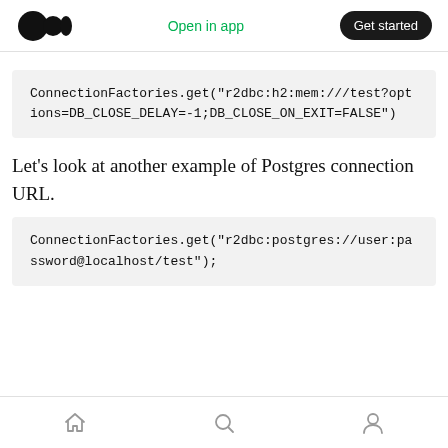Open in app   Get started
[Figure (screenshot): Code block showing: ConnectionFactories.get("r2dbc:h2:mem:///test?options=DB_CLOSE_DELAY=-1;DB_CLOSE_ON_EXIT=FALSE")]
Let’s look at another example of Postgres connection URL.
[Figure (screenshot): Code block showing: ConnectionFactories.get("r2dbc:postgres://user:password@localhost/test");]
Home  Search  Profile icons